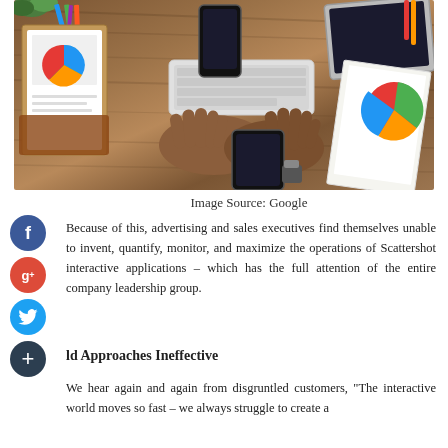[Figure (photo): Overhead view of a wooden desk with hands typing on a keyboard, a smartphone, tablet, laptop, colorful pencils, clipboard with charts, and papers with pie chart visible.]
Image Source: Google
Because of this, advertising and sales executives find themselves unable to invent, quantify, monitor, and maximize the operations of Scattershot interactive applications – which has the full attention of the entire company leadership group.
ld Approaches Ineffective
We hear again and again from disgruntled customers, "The interactive world moves so fast – we always struggle to create a